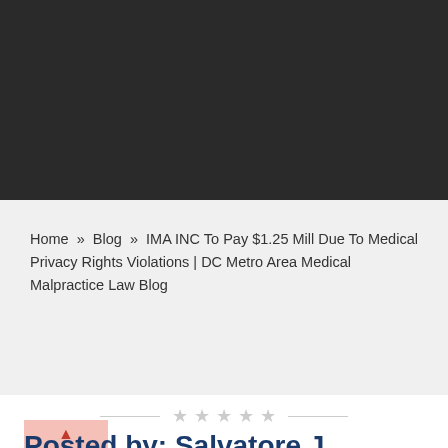[Figure (photo): Dark gray/black header image area at top of webpage]
Home  »  Blog  »  IMA INC To Pay $1.25 Mill Due To Medical Privacy Rights Violations | DC Metro Area Medical Malpractice Law Blog
[Figure (other): Decorative divider with five gray stars between two horizontal lines]
[Figure (other): Pink/salmon colored back-to-top button with upward arrow]
Posted by: Salvatore J